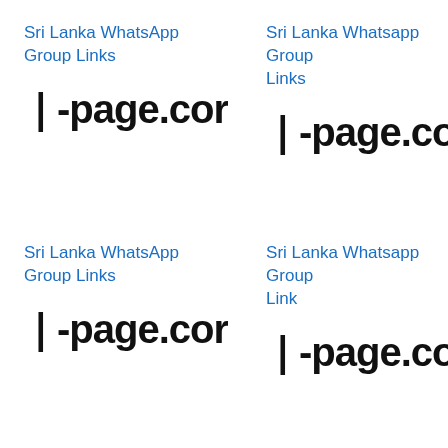Sri Lanka WhatsApp Group Links
[Figure (logo): Partial logo text showing '-page.cor']
Sri Lanka Whatsapp Group Links
[Figure (logo): Partial logo text showing '-page.cor']
Sri Lanka WhatsApp Group Links
[Figure (logo): Partial logo text showing '-page.cor']
Sri Lanka Whatsapp Group Link
[Figure (logo): Partial logo text showing '-page.cor']